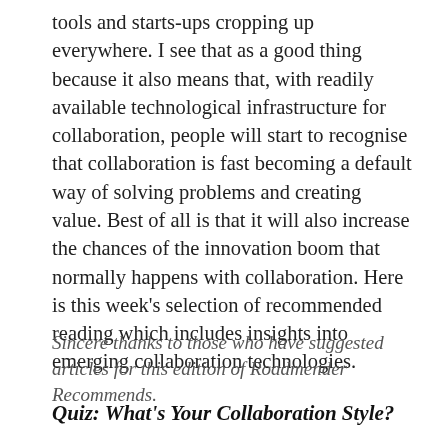tools and starts-ups cropping up everywhere. I see that as a good thing because it also means that, with readily available technological infrastructure for collaboration, people will start to recognise that collaboration is fast becoming a default way of solving problems and creating value. Best of all is that it will also increase the chances of the innovation boom that normally happens with collaboration. Here is this week's selection of recommended reading which includes insights into emerging collaboration technologies.
Sincere thanks to those who have suggested articles for this edition of Roadmender Recommends.
Quiz: What's Your Collaboration Style?